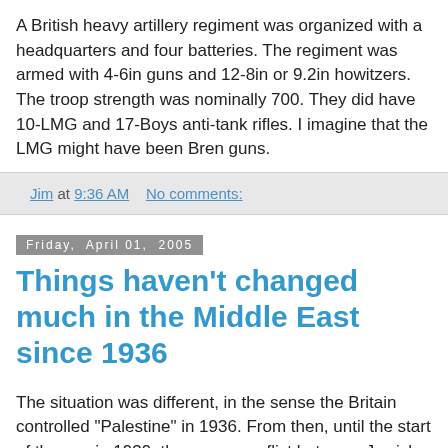A British heavy artillery regiment was organized with a headquarters and four batteries. The regiment was armed with 4-6in guns and 12-8in or 9.2in howitzers. The troop strength was nominally 700. They did have 10-LMG and 17-Boys anti-tank rifles. I imagine that the LMG might have been Bren guns.
Jim at 9:36 AM    No comments:
Friday, April 01, 2005
Things haven't changed much in the Middle East since 1936
The situation was different, in the sense the Britain controlled "Palestine" in 1936. From then, until the start of the war in 1939, there was conflict between Jewish immigrants and Arabs who resented their growing presence, and the government giving them land. In the process that lead to the war in 1948, when the Jewish state was formed, there was continued immigration of Jewish people to the region.